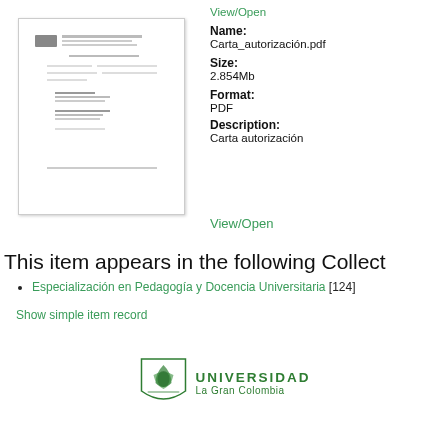[Figure (screenshot): Thumbnail preview of Carta_autorización.pdf document showing a letter with text and signatures]
View/Open
Name:
Carta_autorización.pdf
Size:
2.854Mb
Format:
PDF
Description:
Carta autorización
View/Open
This item appears in the following Collect
Especialización en Pedagogía y Docencia Universitaria [124]
Show simple item record
[Figure (logo): Universidad La Gran Colombia logo with shield emblem and university name in green]